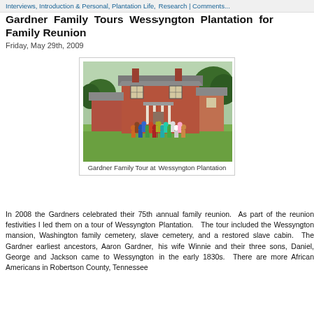Interviews, Introduction & Personal, Plantation Life, Research | Comments
Gardner Family Tours Wessyngton Plantation for Family Reunion
Friday, May 29th, 2009
[Figure (photo): Group photo of the Gardner family standing on the lawn in front of Wessyngton Plantation mansion, a large red brick two-story house with white columns and a metal roof, surrounded by trees.]
Gardner Family Tour at Wessyngton Plantation
In 2008 the Gardners celebrated their 75th annual family reunion.  As part of the reunion festivities I led them on a tour of Wessyngton Plantation.   The tour included the Wessyngton mansion, Washington family cemetery, slave cemetery, and a restored slave cabin.  The Gardner earliest ancestors, Aaron Gardner, his wife Winnie and their three sons, Daniel, George and Jackson came to Wessyngton in the early 1830s.  There are more African Americans in Robertson County, Tennessee